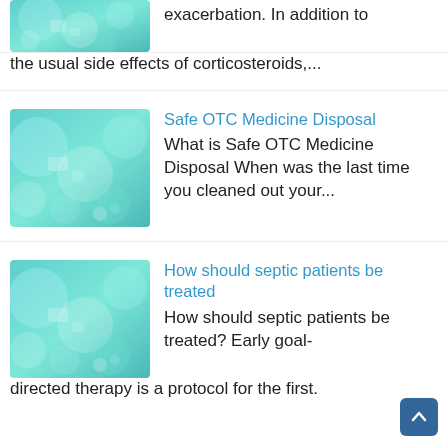[Figure (illustration): Teal/cyan medical background image with bokeh circles, partially cropped at top]
exacerbation.  In addition to the usual side effects of corticosteroids,...
[Figure (illustration): Teal/cyan medical background image with bokeh circles]
Safe OTC Medicine Disposal
What is Safe OTC Medicine Disposal When was the last time you cleaned out your...
[Figure (illustration): Teal/cyan medical background image with bokeh circles]
How should septic patients be treated
How should septic patients be treated?  Early goal-directed therapy is a protocol for the first.